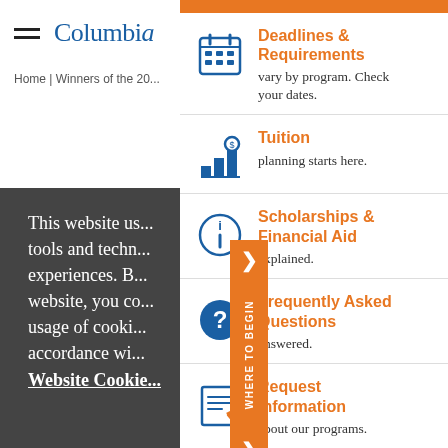Columbia
Home | Winners of the 20...
This website us... tools and techn... experiences. B... website, you co... usage of cooki... accordance wi... Website Cookie...
Deadlines & Requirements — vary by program. Check your dates.
Tuition — planning starts here.
Scholarships & Financial Aid — explained.
Frequently Asked Questions — answered.
Request Information — about our programs.